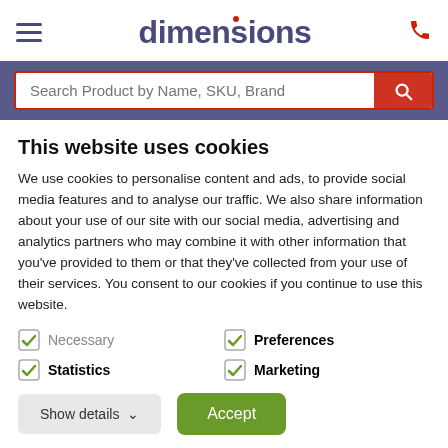[Figure (logo): Dimensions logo with hamburger menu icon on left and phone icon on right]
[Figure (screenshot): Search bar with placeholder 'Search Product by Name, SKU, Brand' and red search button]
This website uses cookies
We use cookies to personalise content and ads, to provide social media features and to analyse our traffic. We also share information about your use of our site with our social media, advertising and analytics partners who may combine it with other information that you've provided to them or that they've collected from your use of their services. You consent to our cookies if you continue to use this website.
Necessary
Preferences
Statistics
Marketing
Show details
Accept